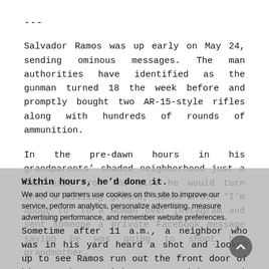---
Salvador Ramos was up early on May 24, sending ominous messages. The man authorities have identified as the gunman turned 18 the week before and promptly bought two AR-15-style rifles along with hundreds of rounds of ammunition.
In the pre-dawn hours in his grandparents’ shaded neighborhood just a half-mile from the site he would turn into a killing ground, Ramos wrote “I’m about to” to a woman over Instagram and sent someone a private Facebook message saying he was going to shoot his grandmother.
Within hours, he’d done it.
We and our partners use cookies on this site to improve our service, perform analytics, personalize advertising, measure advertising performance, and remember website preferences.
Sometime after 11 a.m., a neighbor who was in his yard heard a shot and looked up to see Ramos run out the front door of his grandparents’ home to a pickup truck parked along the narrow street. The 18-year-old seemed panicked